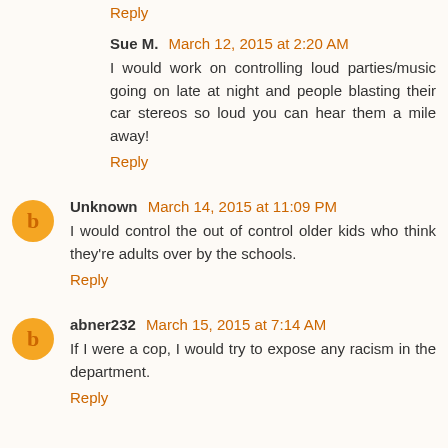Reply
Sue M.  March 12, 2015 at 2:20 AM
I would work on controlling loud parties/music going on late at night and people blasting their car stereos so loud you can hear them a mile away!
Reply
Unknown  March 14, 2015 at 11:09 PM
I would control the out of control older kids who think they're adults over by the schools.
Reply
abner232  March 15, 2015 at 7:14 AM
If I were a cop, I would try to expose any racism in the department.
Reply